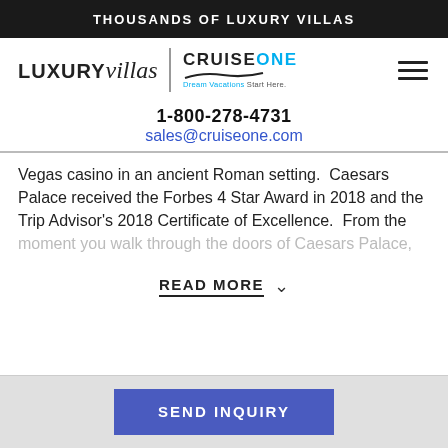THOUSANDS OF LUXURY VILLAS
[Figure (logo): LUXURYvillas logo with vertical divider and CruiseOne Dream Vacations Start Here logo, plus hamburger menu icon]
1-800-278-4731
sales@cruiseone.com
Vegas casino in an ancient Roman setting.  Caesars Palace received the Forbes 4 Star Award in 2018 and the Trip Advisor's 2018 Certificate of Excellence.  From the moment you walk through the doors of Caesars Palace,
READ MORE
SEND INQUIRY